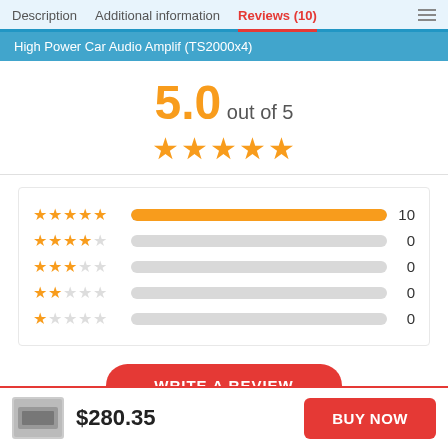Description   Additional information   Reviews (10)
High Power Car Audio Amplif (TS2000x4)
5.0 out of 5
[Figure (infographic): Star rating breakdown: 5 stars=10, 4 stars=0, 3 stars=0, 2 stars=0, 1 star=0]
WRITE A REVIEW
$280.35   BUY NOW